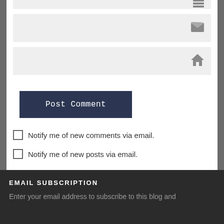[Figure (screenshot): Email input field with envelope icon]
[Figure (screenshot): Website/URL input field with house icon]
Post Comment
Notify me of new comments via email.
Notify me of new posts via email.
EMAIL SUBSCRIPTION
Enter your email address to subscribe to this blog and